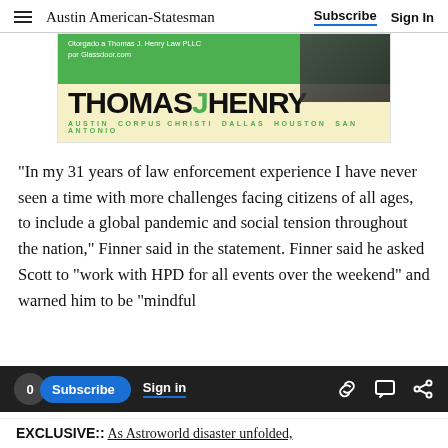Austin American-Statesman  Subscribe  Sign In
[Figure (photo): Thomas J Henry Law PLLC advertisement banner. Green top strip with text 'Otorgado a Thomas J. Henry Law PLLC por Glassdoor.com'. Tan/yellow background with large bold text THOMASJHENRY (J in green). Cities listed: AUSTIN CORPUS CHRISTI DALLAS HOUSTON SAN ANTONIO in green text.]
"In my 31 years of law enforcement experience I have never seen a time with more challenges facing citizens of all ages, to include a global pandemic and social tension throughout the nation," Finner said in the statement. Finner said he asked Scott to "work with HPD for all events over the weekend" and warned him to be "mindful
EXCLUSIVE:: As Astroworld disaster unfolded,